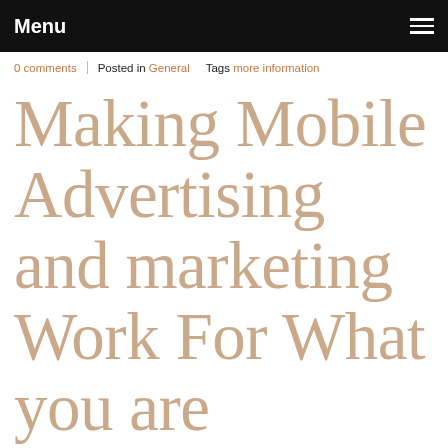Menu
0 comments | Posted in General   Tags more information
Making Mobile Advertising and marketing Work For What you are promoting
January 23, 2020
Tips For Profitable